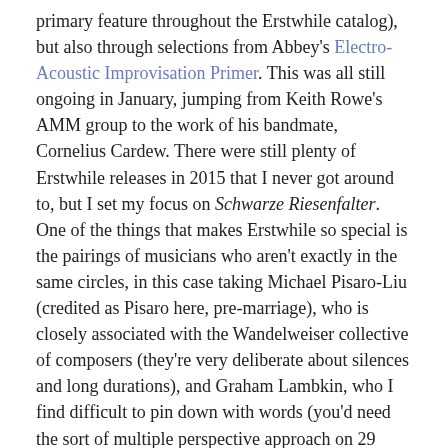primary feature throughout the Erstwhile catalog), but also through selections from Abbey's Electro-Acoustic Improvisation Primer. This was all still ongoing in January, jumping from Keith Rowe's AMM group to the work of his bandmate, Cornelius Cardew. There were still plenty of Erstwhile releases in 2015 that I never got around to, but I set my focus on Schwarze Riesenfalter. One of the things that makes Erstwhile so special is the pairings of musicians who aren't exactly in the same circles, in this case taking Michael Pisaro-Liu (credited as Pisaro here, pre-marriage), who is closely associated with the Wandelweiser collective of composers (they're very deliberate about silences and long durations), and Graham Lambkin, who I find difficult to pin down with words (you'd need the sort of multiple perspective approach on 29 years of material that Tone Glow put together to get close to an accurate picture), but let's just say he has a musique concrète thing going on.
I wasn't familiar with the work of either one before this, but the